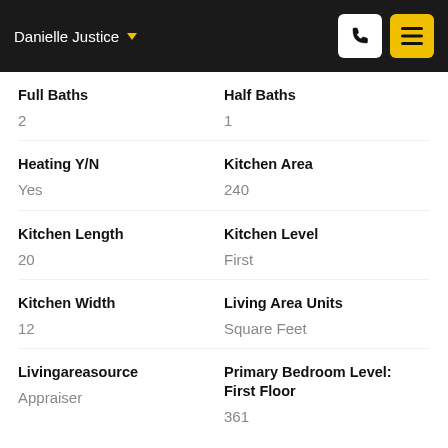Danielle Justice
Full Baths: 2
Half Baths: 1
Heating Y/N: Yes
Kitchen Area: 240
Kitchen Length: 20
Kitchen Level: First
Kitchen Width: 12
Living Area Units: Square Feet
Livingareasource: Appraiser
Primary Bedroom Level: First Floor: 361